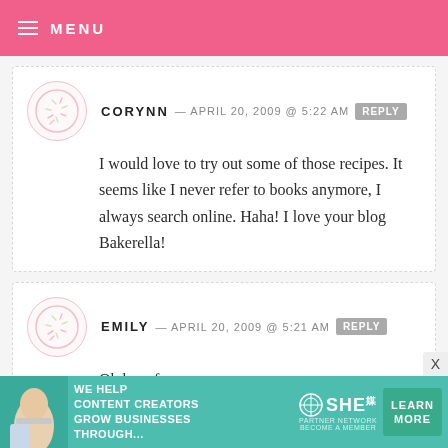MENU
CORYNN — APRIL 20, 2009 @ 5:22 AM  REPLY
I would love to try out some of those recipes. It seems like I never refer to books anymore, I always search online. Haha! I love your blog Bakerella!
EMILY — APRIL 20, 2009 @ 5:21 AM  REPLY
Oh how fun.
Thanks